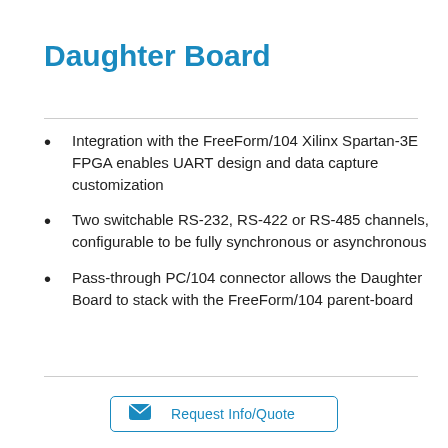Daughter Board
Integration with the FreeForm/104 Xilinx Spartan-3E FPGA enables UART design and data capture customization
Two switchable RS-232, RS-422 or RS-485 channels, configurable to be fully synchronous or asynchronous
Pass-through PC/104 connector allows the Daughter Board to stack with the FreeForm/104 parent-board
Request Info/Quote